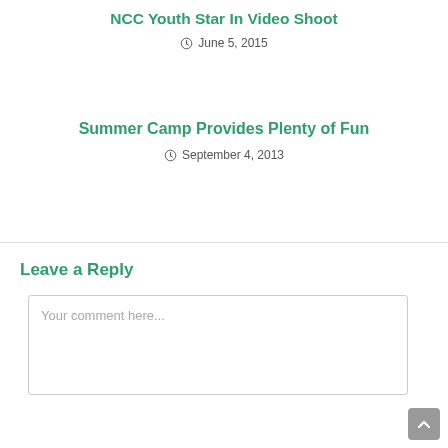NCC Youth Star In Video Shoot
June 5, 2015
Summer Camp Provides Plenty of Fun
September 4, 2013
Leave a Reply
Your comment here...